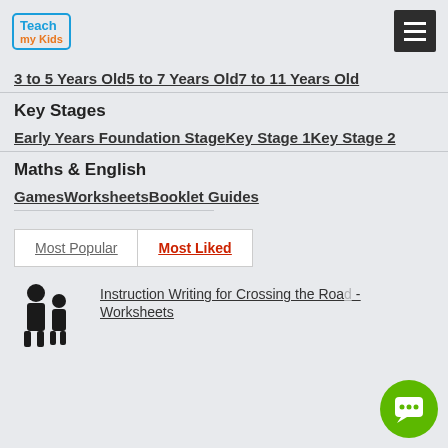Teach my Kids
3 to 5 Years Old5 to 7 Years Old7 to 11 Years Old
Key Stages
Early Years Foundation StageKey Stage 1Key Stage 2
Maths & English
GamesWorksheetsBooklet Guides
Most Popular  Most Liked
Instruction Writing for Crossing the Road - Worksheets